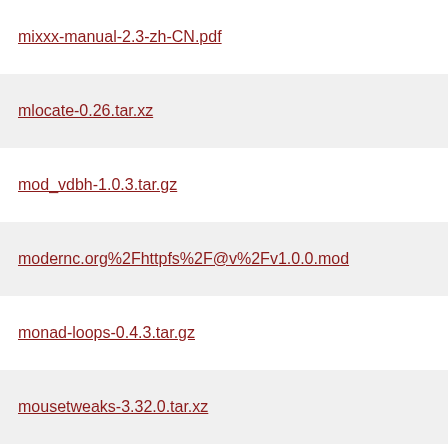mixxx-manual-2.3-zh-CN.pdf
mlocate-0.26.tar.xz
mod_vdbh-1.0.3.tar.gz
modernc.org%2Fhttpfs%2F@v%2Fv1.0.0.mod
monad-loops-0.4.3.tar.gz
mousetweaks-3.32.0.tar.xz